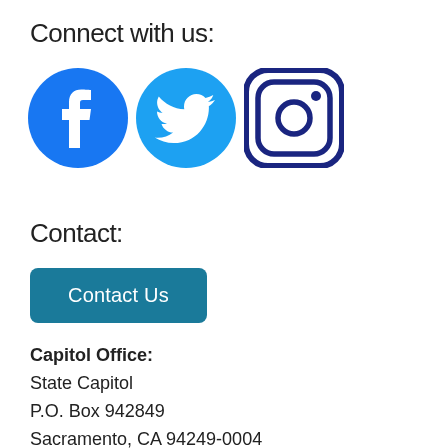Connect with us:
[Figure (logo): Three social media icons: Facebook (blue circle with white f), Twitter (light blue circle with white bird), Instagram (white rounded square with dark blue border and camera lens icon)]
Contact:
Contact Us
Capitol Office:
State Capitol
P.O. Box 942849
Sacramento, CA 94249-0004
Tel: (916) 319-2004